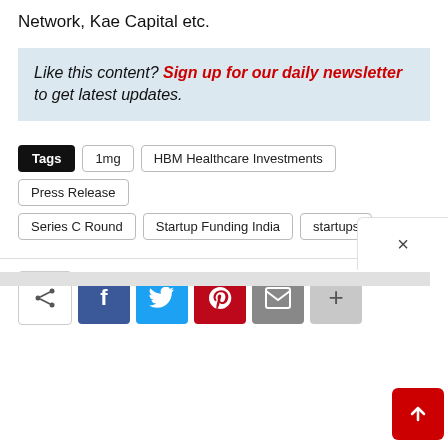Network, Kae Capital etc.
Like this content? Sign up for our daily newsletter to get latest updates.
Tags: 1mg | HBM Healthcare Investments | Press Release | Series C Round | Startup Funding India | startups
[Figure (infographic): Social share buttons: share icon, Facebook, Twitter, Pinterest, Email, and more (+) buttons]